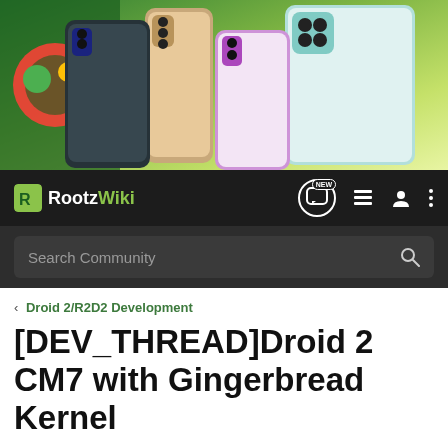[Figure (photo): Banner showing multiple smartphones including Google Pixel and Samsung Galaxy phones on a green/yellow gradient background]
RootzWiki
Search Community
< Droid 2/R2D2 Development
[DEV_THREAD]Droid 2 CM7 with Gingerbread Kernel
→ Jump to Latest
+ Follow
1 - 20 of 4761 Posts
1 of 239